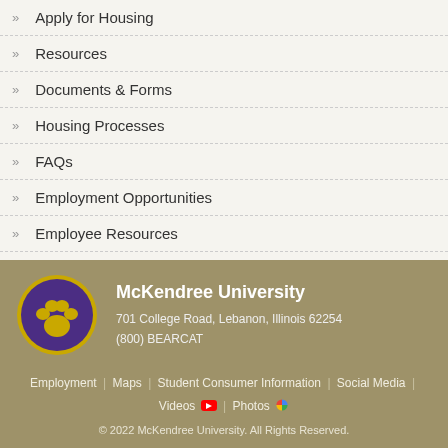» Apply for Housing
» Resources
» Documents & Forms
» Housing Processes
» FAQs
» Employment Opportunities
» Employee Resources
» Have a Question?
[Figure (logo): McKendree University paw print logo — purple circle with gold paw print on dark purple background]
McKendree University
701 College Road, Lebanon, Illinois 62254
(800) BEARCAT
Employment | Maps | Student Consumer Information | Social Media | Videos | Photos
© 2022 McKendree University. All Rights Reserved.